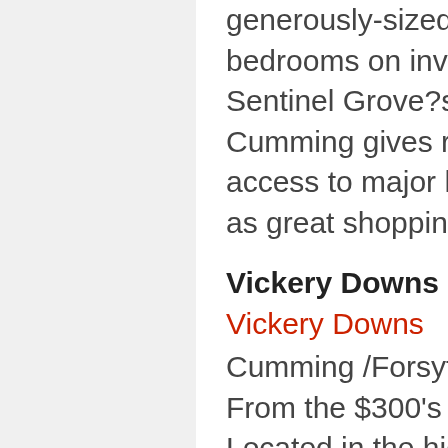generously-sized secondary bedrooms on inviting homesites. Sentinel Grove?s proximity to Cumming gives residents easy access to major highways, as well as great shopping and dining.
Vickery Downs
Vickery Downs
Cumming /Forsyth County
From the $300’s
Located in the highly sought-after city of Cumming, Vickery Downs features gorgeous Craftsman-style homes. These elegant four to five bedroom homes offer nine foot ceilings, hardwood